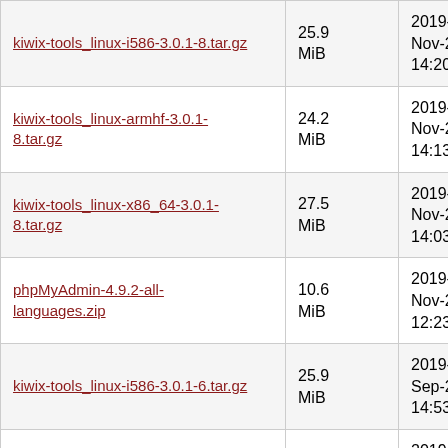| Filename | Size | Date |
| --- | --- | --- |
| kiwix-tools_linux-i586-3.0.1-8.tar.gz | 25.9 MiB | 2019-Nov-26 14:20 |
| kiwix-tools_linux-armhf-3.0.1-8.tar.gz | 24.2 MiB | 2019-Nov-26 14:13 |
| kiwix-tools_linux-x86_64-3.0.1-8.tar.gz | 27.5 MiB | 2019-Nov-26 14:03 |
| phpMyAdmin-4.9.2-all-languages.zip | 10.6 MiB | 2019-Nov-22 12:23 |
| kiwix-tools_linux-i586-3.0.1-6.tar.gz | 25.9 MiB | 2019-Sep-26 14:53 |
| kiwix-tools_linux-armhf-3.0.1-6.tar.gz | 24.2 MiB | 2019-Sep-26 14:47 |
| kiwix-tools_linux-x86_64-3.0.1-6.tar.gz | 27.5 MiB | 2019-Sep-26 14:41 |
| phpMyAdmin-4.9.1-all-languages.zip | 10.8 MiB | 2019-Sep-21 |